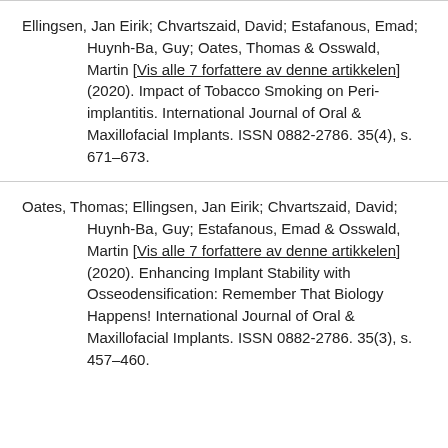Ellingsen, Jan Eirik; Chvartszaid, David; Estafanous, Emad; Huynh-Ba, Guy; Oates, Thomas & Osswald, Martin [Vis alle 7 forfattere av denne artikkelen] (2020). Impact of Tobacco Smoking on Peri-implantitis. International Journal of Oral & Maxillofacial Implants. ISSN 0882-2786. 35(4), s. 671–673.
Oates, Thomas; Ellingsen, Jan Eirik; Chvartszaid, David; Huynh-Ba, Guy; Estafanous, Emad & Osswald, Martin [Vis alle 7 forfattere av denne artikkelen] (2020). Enhancing Implant Stability with Osseodensification: Remember That Biology Happens! International Journal of Oral & Maxillofacial Implants. ISSN 0882-2786. 35(3), s. 457–460.